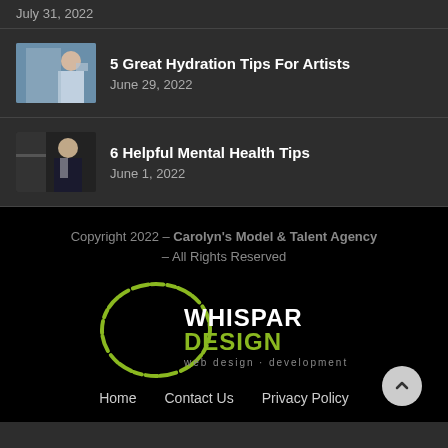5 Great Hydration Tips For Artists — June 29, 2022
6 Helpful Mental Health Tips — June 1, 2022
Copyright 2022 - Carolyn's Model & Talent Agency - All Rights Reserved
[Figure (logo): Whispar Design logo — circular brushstroke in lime green with WHISPAR DESIGN text and 'web design · development' subtitle]
Home   Contact Us   Privacy Policy